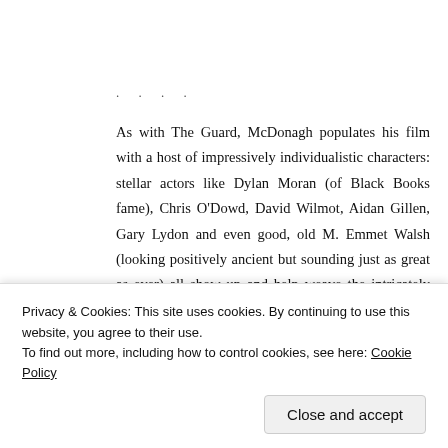. . . .
As with The Guard, McDonagh populates his film with a host of impressively individualistic characters: stellar actors like Dylan Moran (of Black Books fame), Chris O'Dowd, David Wilmot, Aidan Gillen, Gary Lydon and even good, old M. Emmet Walsh (looking positively ancient but sounding just as great as ever) all show up and help weave the intricately intertwined tapestry that forms the fabric of the film. Kelly Reilly does some great work as James' estranged daughter and I must
Privacy & Cookies: This site uses cookies. By continuing to use this website, you agree to their use.
To find out more, including how to control cookies, see here: Cookie Policy
Close and accept